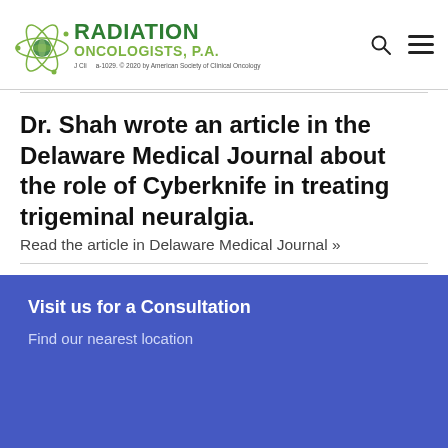[Figure (logo): Radiation Oncologists P.A. logo with atom graphic and green text]
Dr. Shah wrote an article in the Delaware Medical Journal about the role of Cyberknife in treating trigeminal neuralgia.
Read the article in Delaware Medical Journal »
Visit us for a Consultation
Find our nearest location